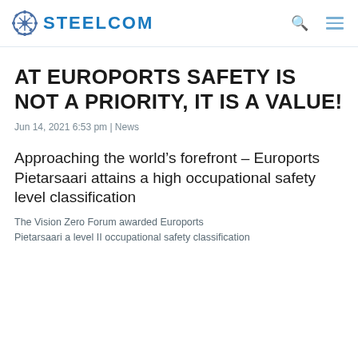STEELCOM
AT EUROPORTS SAFETY IS NOT A PRIORITY, IT IS A VALUE!
Jun 14, 2021 6:53 pm | News
Approaching the world’s forefront – Euroports Pietarsaari attains a high occupational safety level classification
The Vision Zero Forum awarded Euroports Pietarsaari a level II occupational safety classification